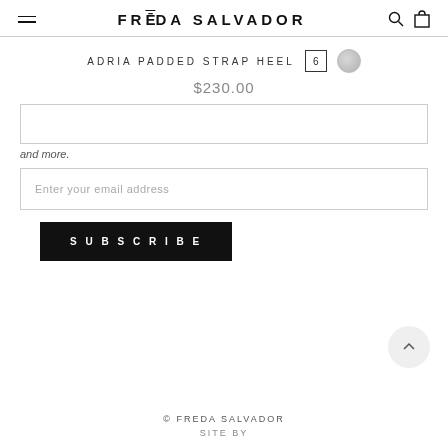FRĒDA SALVADOR
ADRIA PADDED STRAP HEEL  6
$230.00
and more.
Enter your email address
SUBSCRIBE
© FREDA SALVADOR  SITE BY